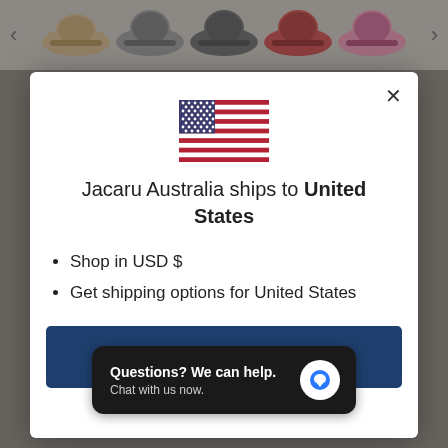[Figure (screenshot): Background showing hat product images in a carousel row with navigation arrows, partially visible product page content below]
[Figure (illustration): United States flag SVG illustration inside modal dialog]
Jacaru Australia ships to United States
Shop in USD $
Get shipping options for United States
Shop now
Change shipping country
Questions? We can help. Chat with us now.